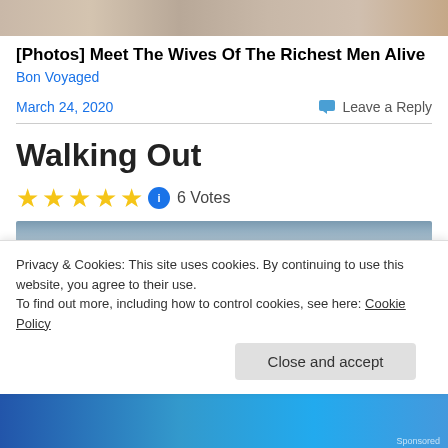[Figure (photo): Cropped top portion of a photo strip showing people]
[Photos] Meet The Wives Of The Richest Men Alive
Bon Voyaged
March 24, 2020
Leave a Reply
Walking Out
6 Votes
[Figure (photo): Partially visible article image with blue/grey gradient]
Privacy & Cookies: This site uses cookies. By continuing to use this website, you agree to their use.
To find out more, including how to control cookies, see here: Cookie Policy